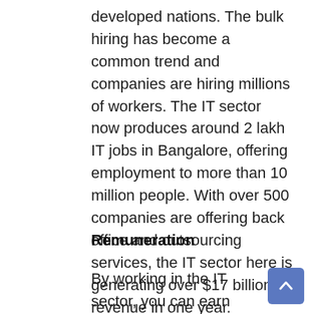developed nations. The bulk hiring has become a common trend and companies are hiring millions of workers. The IT sector now produces around 2 lakh IT jobs in Bangalore, offering employment to more than 10 million people. With over 500 companies are offering back office and outsourcing services, the IT sector here is generating over $17 billion revenue in one year. According to the latest annual ranking by the consulting firm Tholons, Bangalore is the most attractive IT/ITes outsourcing destination in the world.
Remuneration
By working in the IT sector, you can earn good salary packages along with extra perks. As